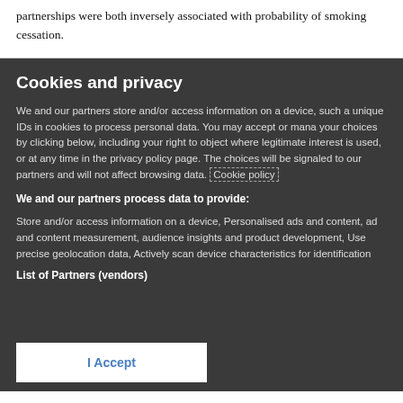partnerships were both inversely associated with probability of smoking cessation.
Cookies and privacy
We and our partners store and/or access information on a device, such a unique IDs in cookies to process personal data. You may accept or mana your choices by clicking below, including your right to object where legitimate interest is used, or at any time in the privacy policy page. The choices will be signaled to our partners and will not affect browsing data. Cookie policy
We and our partners process data to provide:
Store and/or access information on a device, Personalised ads and content, ad and content measurement, audience insights and product development, Use precise geolocation data, Actively scan device characteristics for identification
List of Partners (vendors)
I Accept